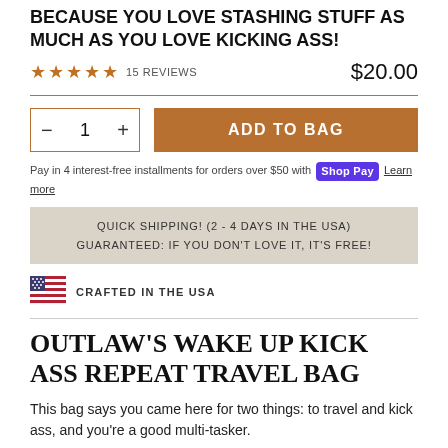BECAUSE YOU LOVE STASHING STUFF AS MUCH AS YOU LOVE KICKING ASS!
★★★★★  15 REVIEWS    $20.00
Pay in 4 interest-free installments for orders over $50 with Shop Pay  Learn more
QUICK SHIPPING! (2 - 4 DAYS IN THE USA)
GUARANTEED: IF YOU DON'T LOVE IT, IT'S FREE!
[Figure (illustration): Small US flag icon]
CRAFTED IN THE USA
OUTLAW'S WAKE UP KICK ASS REPEAT TRAVEL BAG
This bag says you came here for two things: to travel and kick ass, and you're a good multi-tasker.